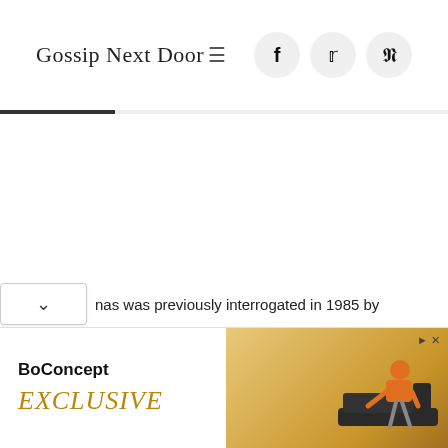Gossip Next Door
nas was previously interrogated in 1985 by
[Figure (screenshot): BoConcept advertisement banner with 'EXCLUSIVE' text in gold italic and a person sitting on a dark sofa on an orange/yellow background]